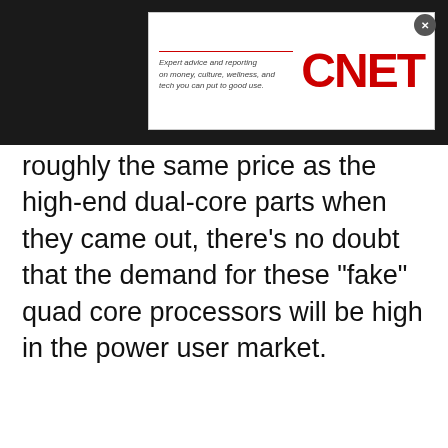[Figure (logo): CNET advertisement banner with tagline 'Expert advice and reporting on money, culture, wellness, and tech you can put to good use.' and red CNET logo]
roughly the same price as the high-end dual-core parts when they came out, there's no doubt that the demand for these "fake" quad core processors will be high in the power user market.